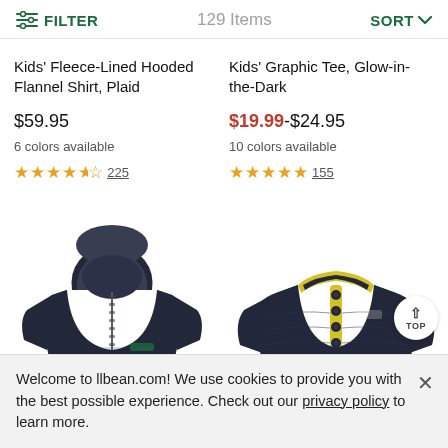FILTER | 129 Items | SORT
Kids' Fleece-Lined Hooded Flannel Shirt, Plaid
$59.95
6 colors available
★★★★½ 225
Kids' Graphic Tee, Glow-in-the-Dark
$19.99-$24.95
10 colors available
★★★★★ 155
[Figure (photo): Dark navy kids hooded fleece jacket]
[Figure (photo): Dark navy kids snap pullover with yellow trim]
Welcome to llbean.com! We use cookies to provide you with the best possible experience. Check out our privacy policy to learn more.